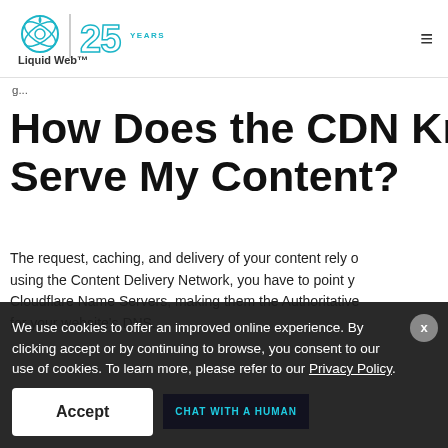[Figure (logo): Liquid Web 25 Years logo — outline of an atom/water drop icon with text 'Liquid Web™' and a large stylized '25 YEARS' in teal/blue]
Liquid Web™ 25 Years logo header with hamburger menu icon
g...
How Does the CDN Know Ho Serve My Content?
The request, caching, and delivery of your content rely o using the Content Delivery Network, you have to point y Cloudflare Name Servers, making them the Authoritativ for your website's DNS.
We use cookies to offer an improved online experience. By clicking accept or by continuing to browse, you consent to our use of cookies. To learn more, please refer to our Privacy Policy.
Accept
CHAT WITH A HUMAN